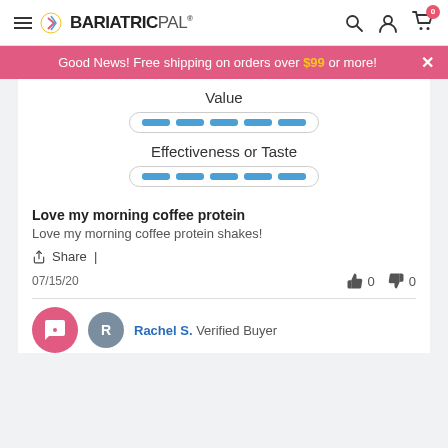BariatricPal
Good News! Free shipping on orders over $99 or more!
Value
[Figure (other): 5-dash blue rating bar for Value]
Effectiveness or Taste
[Figure (other): 5-dash blue rating bar for Effectiveness or Taste]
Love my morning coffee protein
Love my morning coffee protein shakes!
Share |
07/15/20
0  0
Rachel S. Verified Buyer